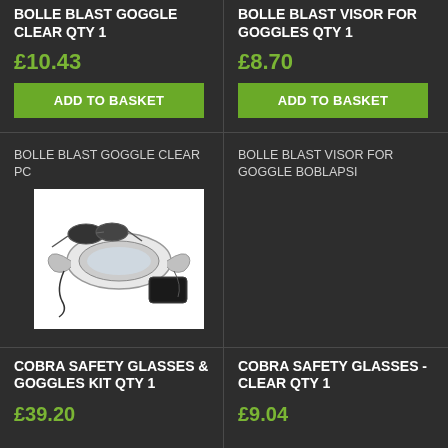BOLLE BLAST GOGGLE CLEAR QTY 1
£10.43
ADD TO BASKET
BOLLE BLAST VISOR FOR GOGGLES QTY 1
£8.70
ADD TO BASKET
BOLLE BLAST GOGGLE CLEAR PC
BOLLE BLAST VISOR FOR GOGGLE BOBLAPSI
[Figure (photo): Cobra Safety Glasses and Goggles Kit product photo showing goggles, sunglasses and case on white background]
COBRA SAFETY GLASSES & GOGGLES KIT QTY 1
£39.20
COBRA SAFETY GLASSES - CLEAR QTY 1
£9.04